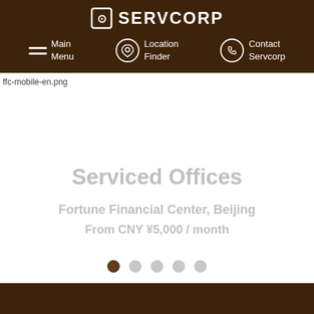SERVCORP
Main Menu | Location Finder | Contact Servcorp
[Figure (screenshot): Broken image placeholder: ffc-mobile-en.png]
Serviced Offices
Fortune Financial Center, Beijing
From CNY ¥5,000 / month